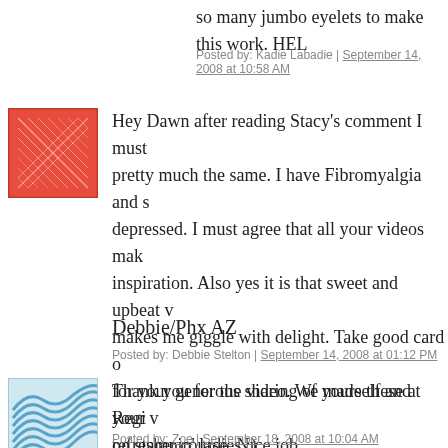so many jumbo eyelets to make this work. HEL
Posted by: Kadie Labadie | September 14, 2008 at 10:58 AM
[Figure (illustration): Red/pink abstract geometric avatar icon]
Hey Dawn after reading Stacy's comment I must pretty much the same. I have Fibromyalgia and s depressed. I must agree that all your videos mak inspiration. Also yes it is that sweet and upbeat v makes me giggle with delight. Take good card o for your generous sharing of yourself and your v on stampin' ladies ;)
Debbie/Phx AZ
Posted by: Debbie Stelton | September 14, 2008 at 01:12 PM
[Figure (illustration): Blue layered wave lines avatar icon]
Thank you for the video. We made these at Regi refresher course. Nice job.
Posted by: Zoe | September 18, 2008 at 10:04 AM